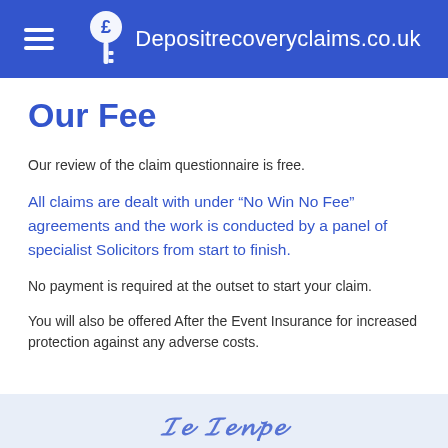Depositrecoveryclaims.co.uk
Our Fee
Our review of the claim questionnaire is free.
All claims are dealt with under “No Win No Fee” agreements and the work is conducted by a panel of specialist Solicitors from start to finish.
No payment is required at the outset to start your claim.
You will also be offered After the Event Insurance for increased protection against any adverse costs.